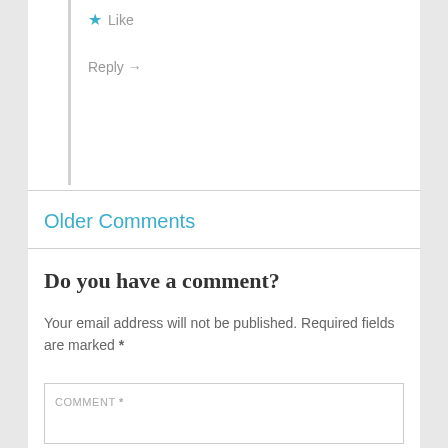★ Like
Reply →
Older Comments
Do you have a comment?
Your email address will not be published. Required fields are marked *
COMMENT *